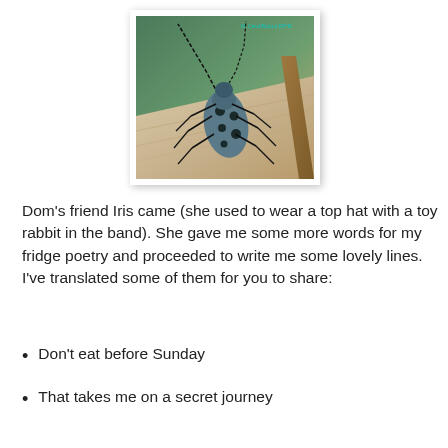[Figure (photo): Close-up photograph of a blue-black spotted longhorn beetle on a light wooden surface, with long antennae. Watermark text 'M. Carré/Biotool EPHE' in top right corner.]
Dom's friend Iris came (she used to wear a top hat with a toy rabbit in the band). She gave me some more words for my fridge poetry and proceeded to write me some lovely lines. I've translated some of them for you to share:
Don't eat before Sunday
That takes me on a secret journey